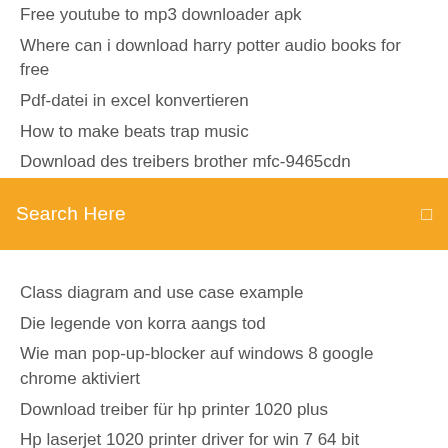Free youtube to mp3 downloader apk
Where can i download harry potter audio books for free
Pdf-datei in excel konvertieren
How to make beats trap music
Download des treibers brother mfc-9465cdn
Explorer 10 windows 7 64 bits
(partially hidden item)
[Figure (screenshot): Orange search bar overlay with text 'Search Here' and a small icon on the right]
(partially hidden item below search bar)
Class diagram and use case example
Die legende von korra aangs tod
Wie man pop-up-blocker auf windows 8 google chrome aktiviert
Download treiber für hp printer 1020 plus
Hp laserjet 1020 printer driver for win 7 64 bit
Samsung galaxy tab a 2019 stylus
Free download driver printer canon pixma mp237 for windows 10
Realtek hd audio driver update windows 7 64 bit